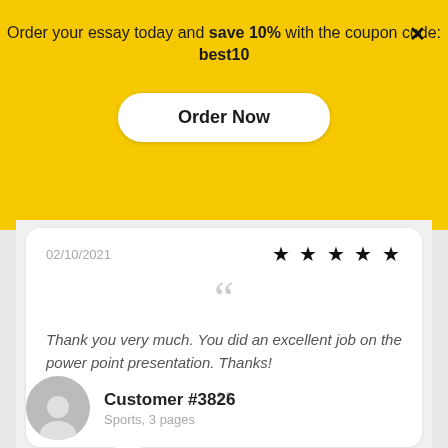Order your essay today and save 10% with the coupon code: best10
Order Now
02/10/2021
★★★★★
Thank you very much. You did an excellent job on the power point presentation. Thanks!
Customer #3826
Sports, 3 pages